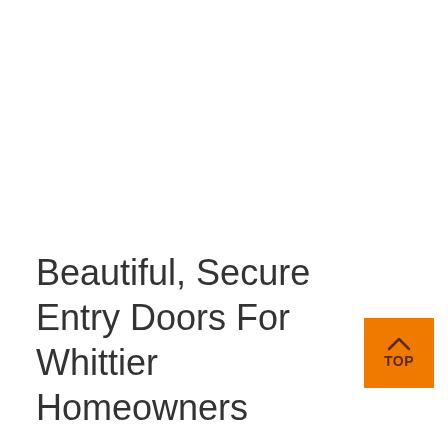Beautiful, Secure Entry Doors For Whittier Homeowners